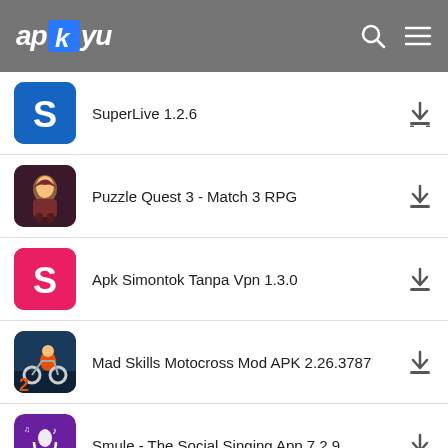[Figure (screenshot): apkyu website header with logo, search icon, and menu icon on grey background]
SuperLive 1.2.6
Puzzle Quest 3 - Match 3 RPG
Apk Simontok Tanpa Vpn 1.3.0
Mad Skills Motocross Mod APK 2.26.3787
Smule - The Social Singing App 7.2.9
VidMate HD 4.3909